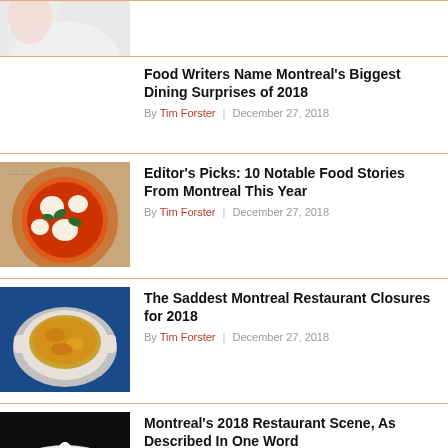[Figure (photo): Partial image of a person in white clothing, cropped at top of page]
Food Writers Name Montreal's Biggest Dining Surprises of 2018
By Tim Forster | December 27, 2018
[Figure (photo): Pizza margherita in a box, viewed from above]
Editor's Picks: 10 Notable Food Stories From Montreal This Year
By Tim Forster | December 27, 2018
[Figure (photo): French onion soup gratin in a white ceramic bowl on a blue background]
The Saddest Montreal Restaurant Closures for 2018
By Tim Forster | December 27, 2018
[Figure (photo): Plated dessert on a white plate, dark background]
Montreal's 2018 Restaurant Scene, As Described In One Word
By Tim Forster | December 26, 2018